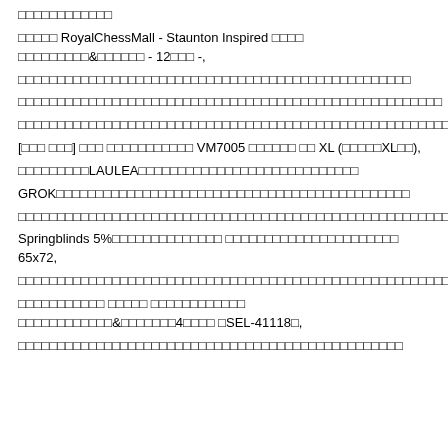□□□□□□□□□□□□
□□□□□ RoyalChessMall - Staunton Inspired □□□□ □□□□□□□□□&□□□□□□ - 12□□□ -,
□□□□□□□□□□□□□□□□□□□□□□□□□□□□□□□□□□□□□□□□□□□□□□□□ □□
□□□□□□□□□□□□□□□□□□□□□□□□□□□□□□□□□□□□□□□□□□□□□□□□□ □□□□
□□□□□□□□□□□□□□□□□□□□□□□□□□□□□□□□□□□□□□□□□□□□□□□□□ □□□□□□□
[□□□ □□□] □□□ □□□□□□□□□□□ VM7005 □□□□□□ □□ XL (□ □□□□XL□□),
□□□□□□□□□LAULEA□□□□□□□□□□□□□□□□□□□□□□□□□□□□
GROK□□□□□□□□□□□□□□□□□□□□□□□□□□□□□□□□□□□□□ □□□□□□□□□□
□□□□□□□□□□□□□□□□□□□□□□□□□□□□□□□□□□□□□□□□□□□□□□□□□ □□□□□□□□□□□□□
Springblinds 5%□□□□□□□□□□□□□□ □□□□□□□□□□□□□□□□□□□ □□□ 65x72,
□□□□□□□□□□□□□□□□□□□□□□□□□□□□□□□□□□□□□□□□□□□□□□□□□ □□□□□□□□□□□□□□□□□□□□□□□□□□□□□□□□□□
□□□□□□□□□□□ □□□□□ □□□□□□□□□□□□ □□□□□□□□□□□□&□□ □□□□□□4□□□□ □SEL-41118□,
□□□□□□□□□□□□□□□□□□□□□□□□□□□□□□□□□□□□□□□□□□□□□□□□□